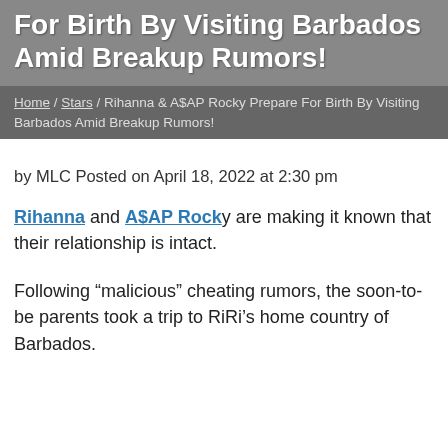For Birth By Visiting Barbados Amid Breakup Rumors!
Home / Stars / Rihanna & A$AP Rocky Prepare For Birth By Visiting Barbados Amid Breakup Rumors!
by MLC Posted on April 18, 2022 at 2:30 pm
Rihanna and A$AP Rocky are making it known that their relationship is intact.
Following “malicious” cheating rumors, the soon-to-be parents took a trip to RiRi’s home country of Barbados.